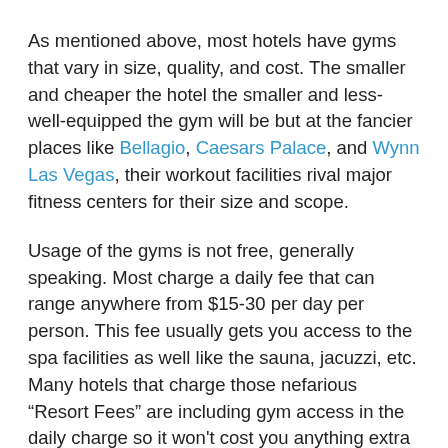As mentioned above, most hotels have gyms that vary in size, quality, and cost. The smaller and cheaper the hotel the smaller and less-well-equipped the gym will be but at the fancier places like Bellagio, Caesars Palace, and Wynn Las Vegas, their workout facilities rival major fitness centers for their size and scope.
Usage of the gyms is not free, generally speaking. Most charge a daily fee that can range anywhere from $15-30 per day per person. This fee usually gets you access to the spa facilities as well like the sauna, jacuzzi, etc. Many hotels that charge those nefarious “Resort Fees” are including gym access in the daily charge so it won't cost you anything extra but it still isn't free.
If you are already a member of a national chain gym in your hometown, they may have an outlet here in Vegas that you can use for no additional cost. 24 Hour